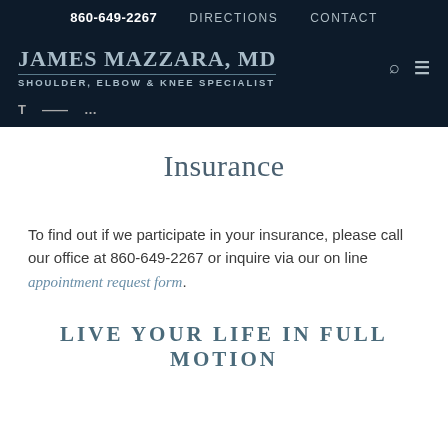860-649-2267   DIRECTIONS   CONTACT
JAMES MAZZARA, MD SHOULDER, ELBOW & KNEE SPECIALIST
Insurance
To find out if we participate in your insurance, please call our office at 860-649-2267 or inquire via our on line appointment request form.
LIVE YOUR LIFE IN FULL MOTION